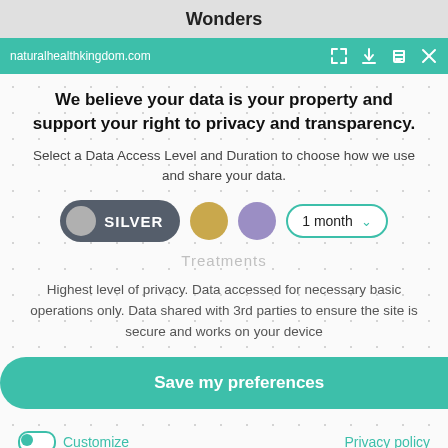Wonders
naturalhealthkingdom.com
We believe your data is your property and support your right to privacy and transparency.
Select a Data Access Level and Duration to choose how we use and share your data.
[Figure (infographic): Privacy level selector with SILVER pill button selected (dark grey with grey circle), gold circle, purple circle, and a '1 month' dropdown with teal border. Watermark text 'Treatments' behind.]
Highest level of privacy. Data accessed for necessary basic operations only. Data shared with 3rd parties to ensure the site is secure and works on your device
Save my preferences
Customize
Privacy policy